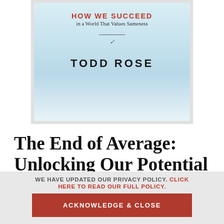[Figure (illustration): Book cover of 'The End of Average' by Todd Rose showing the subtitle 'HOW WE SUCCEED in a World That Values Sameness' and author name 'TODD ROSE' on a light blue gradient background]
The End of Average: Unlocking Our Potential by Embracing What Makes Us Different
WE HAVE UPDATED OUR PRIVACY POLICY. CLICK HERE TO READ OUR FULL POLICY.
ACKNOWLEDGE & CLOSE